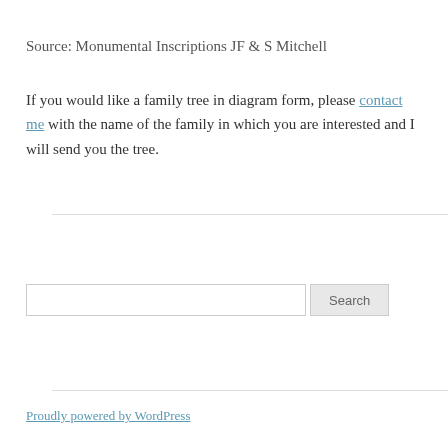Source: Monumental Inscriptions JF & S Mitchell
If you would like a family tree in diagram form, please contact me with the name of the family in which you are interested and I will send you the tree.
[Figure (other): Search input box with text field and Search button]
Proudly powered by WordPress